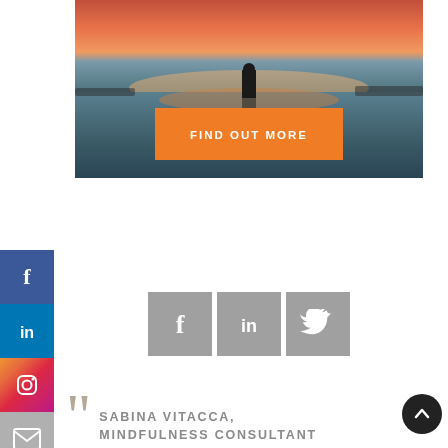[Figure (photo): Person silhouetted against a dramatic orange sunset reflected on a calm water surface, with an orange 'FIND OUT MORE' button overlay]
[Figure (infographic): Row of three grey social media icon squares: Facebook, LinkedIn, Twitter]
[Figure (infographic): Vertical sidebar with four social media icons: Facebook (blue), LinkedIn (blue), Instagram (gradient), Email (grey)]
SABINA VITACCA, MINDFULNESS CONSULTANT